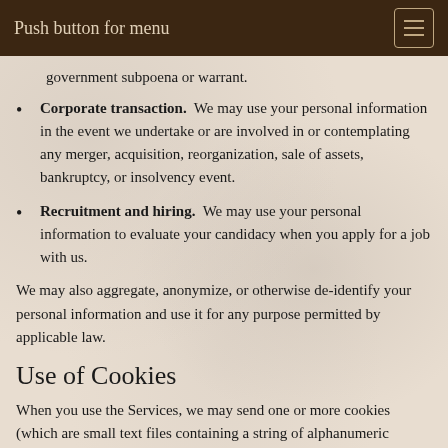Push button for menu
government subpoena or warrant.
Corporate transaction.  We may use your personal information in the event we undertake or are involved in or contemplating any merger, acquisition, reorganization, sale of assets, bankruptcy, or insolvency event.
Recruitment and hiring.  We may use your personal information to evaluate your candidacy when you apply for a job with us.
We may also aggregate, anonymize, or otherwise de-identify your personal information and use it for any purpose permitted by applicable law.
Use of Cookies
When you use the Services, we may send one or more cookies (which are small text files containing a string of alphanumeric characters) to your computer or mobile device, to help analyze our web page flow, customize our content, measure promotional effectiveness, and